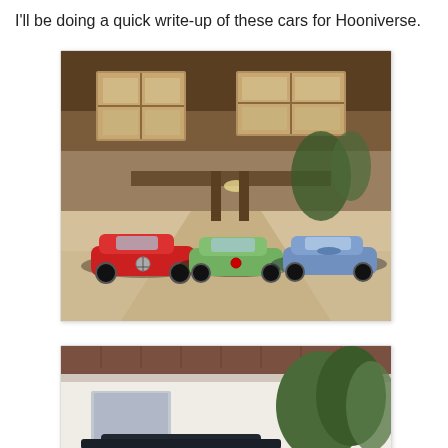I'll be doing a quick write-up of these cars for Hooniverse.
[Figure (photo): Three exotic sports cars parked in front of a house — a red Mercedes-Benz SLS on the left, a green Ferrari 458 in the center, and a blue Ferrari California on the right. The house has a craftsman style with wooden siding and multiple windows.]
[Figure (photo): Partial view of a residential house exterior with a white stucco facade, a sloped roof with brown/terracotta tiles, and trees visible in the background. A dark car is partially visible at the bottom.]